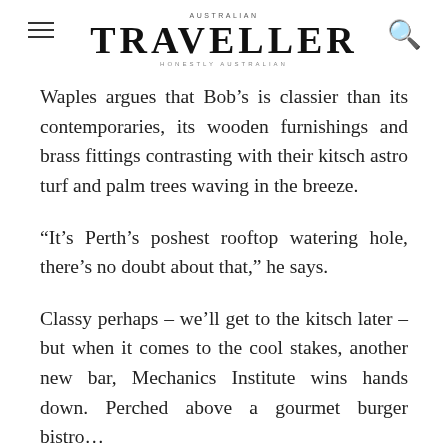AUSTRALIAN TRAVELLER HONESTLY AUSTRALIAN
Waples argues that Bob’s is classier than its contemporaries, its wooden furnishings and brass fittings contrasting with their kitsch astro turf and palm trees waving in the breeze.
“It’s Perth’s poshest rooftop watering hole, there’s no doubt about that,” he says.
Classy perhaps – we’ll get to the kitsch later – but when it comes to the cool stakes, another new bar, Mechanics Institute wins hands down. Perched above a gourmet burger bistro…